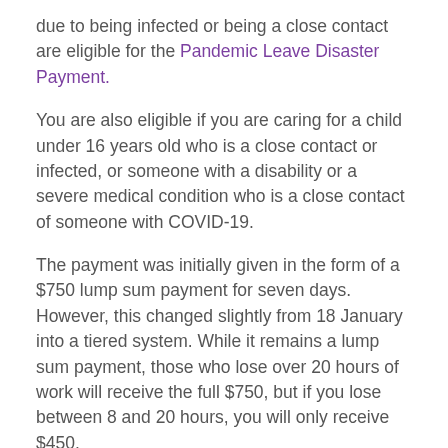due to being infected or being a close contact are eligible for the Pandemic Leave Disaster Payment.
You are also eligible if you are caring for a child under 16 years old who is a close contact or infected, or someone with a disability or a severe medical condition who is a close contact of someone with COVID-19.
The payment was initially given in the form of a $750 lump sum payment for seven days. However, this changed slightly from 18 January into a tiered system. While it remains a lump sum payment, those who lose over 20 hours of work will receive the full $750, but if you lose between 8 and 20 hours, you will only receive $450.